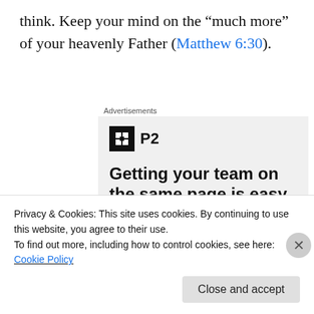think. Keep your mind on the “much more” of your heavenly Father (Matthew 6:30).
[Figure (screenshot): Advertisement banner for P2 product showing logo, headline 'Getting your team on the same page is easy. And free.' with three person avatars and a blue plus button]
Privacy & Cookies: This site uses cookies. By continuing to use this website, you agree to their use.
To find out more, including how to control cookies, see here: Cookie Policy